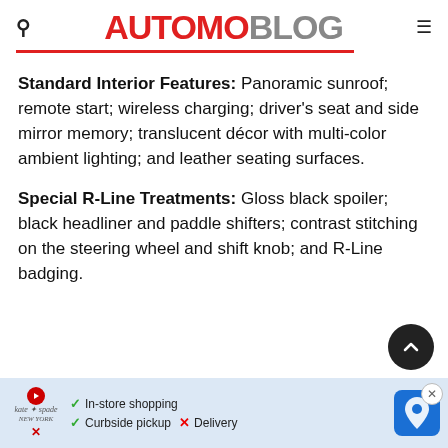AUTOMOBLOG
Standard Interior Features: Panoramic sunroof; remote start; wireless charging; driver's seat and side mirror memory; translucent décor with multi-color ambient lighting; and leather seating surfaces.
Special R-Line Treatments: Gloss black spoiler; black headliner and paddle shifters; contrast stitching on the steering wheel and shift knob; and R-Line badging.
[Figure (infographic): Advertisement banner showing kate spade store with In-store shopping, Curbside pickup checkmarks and Delivery cross, plus a blue navigation map icon]